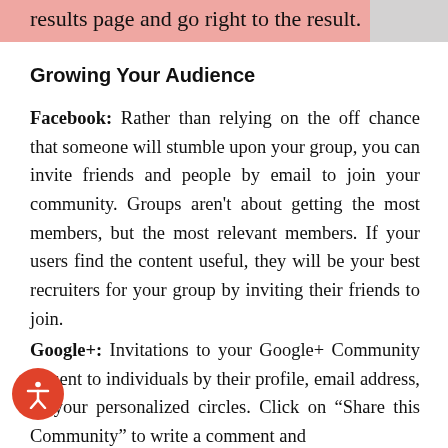results page and go right to the result.
Growing Your Audience
Facebook: Rather than relying on the off chance that someone will stumble upon your group, you can invite friends and people by email to join your community. Groups aren't about getting the most members, but the most relevant members. If your users find the content useful, they will be your best recruiters for your group by inviting their friends to join.
Google+: Invitations to your Google+ Community be sent to individuals by their profile, email address, or your personalized circles. Click on "Share this Community" to write a comment and